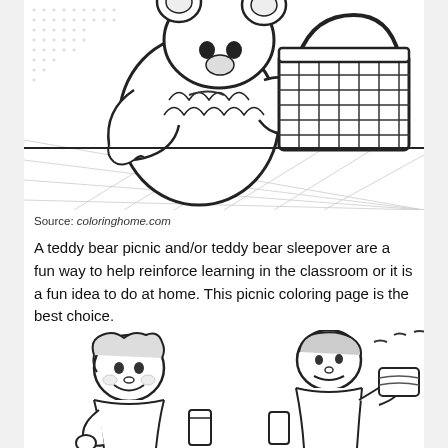[Figure (illustration): Black and white coloring page illustration of a teddy bear with a picnic basket on a checkered blanket/tablecloth. The bear is reaching into or holding the basket.]
Source: coloringhome.com
A teddy bear picnic and/or teddy bear sleepover are a fun way to help reinforce learning in the classroom or it is a fun idea to do at home. This picnic coloring page is the best choice.
[Figure (illustration): Black and white coloring page illustration of two children having a picnic, eating sandwiches and drinks, partially visible at bottom of page.]